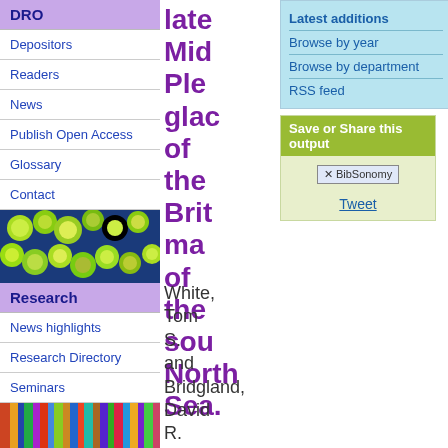DRO
Depositors
Readers
News
Publish Open Access
Glossary
Contact
[Figure (photo): Microscope image of green and yellow circular cells on blue background]
Research
News highlights
Research Directory
Seminars
[Figure (photo): Colorful spines of books stacked together]
late Mid Ple glac of the Brit ma of the sou North Sea.
Latest additions
Browse by year
Browse by department
RSS feed
Save or Share this output
BibSonomy
Tweet
White, Tom S. and Bridgland, David R.